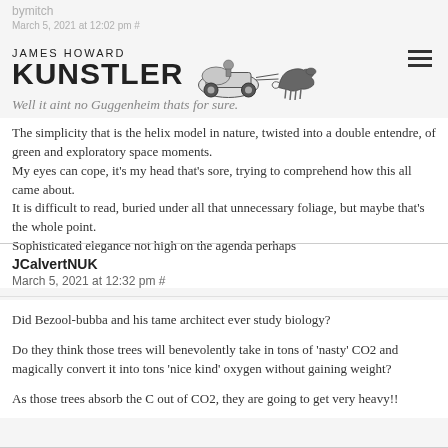JAMES HOWARD KUNSTLER
bymitch
Well it aint no Guggenheim thats for sure.
The simplicity that is the helix model in nature, twisted into a double entendre, of green and exploratory space moments.
My eyes can cope, it’s my head that’s sore, trying to comprehend how this all came about.
It is difficult to read, buried under all that unnecessary foliage, but maybe that’s the whole point.
Sophisticated elegance not high on the agenda perhaps
JCalvertNUK
March 5, 2021 at 12:32 pm #
Did Bezool-bubba and his tame architect ever study biology?

Do they think those trees will benevolently take in tons of ‘nasty’ CO2 and magically convert it into tons ‘nice kind’ oxygen without gaining weight?

As those trees absorb the C out of CO2, they are going to get very heavy!!